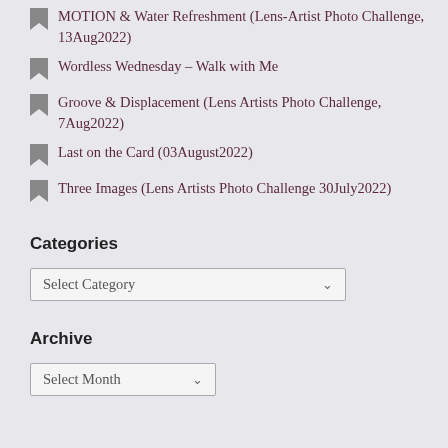MOTION & Water Refreshment (Lens-Artist Photo Challenge, 13Aug2022)
Wordless Wednesday – Walk with Me
Groove & Displacement (Lens Artists Photo Challenge, 7Aug2022)
Last on the Card (03August2022)
Three Images (Lens Artists Photo Challenge 30July2022)
Categories
Select Category
Archive
Select Month